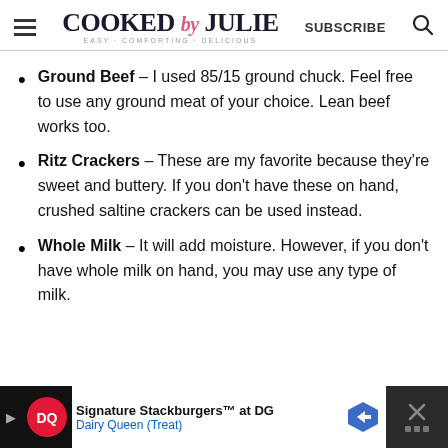COOKED by JULIE — SUBSCRIBE
Ground Beef – I used 85/15 ground chuck. Feel free to use any ground meat of your choice. Lean beef works too.
Ritz Crackers – These are my favorite because they're sweet and buttery. If you don't have these on hand, crushed saltine crackers can be used instead.
Whole Milk – It will add moisture. However, if you don't have whole milk on hand, you may use any type of milk.
Signature Stackburgers™ at DG — Dairy Queen (Treat)